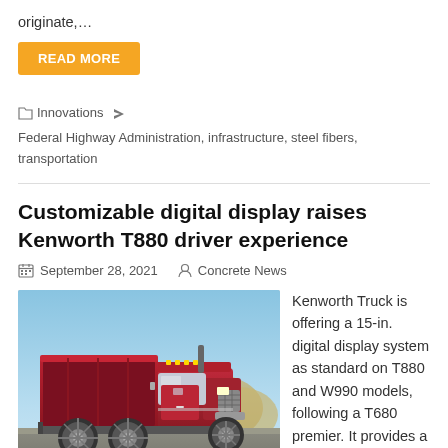originate,…
READ MORE
Innovations  Federal Highway Administration, infrastructure, steel fibers, transportation
Customizable digital display raises Kenworth T880 driver experience
September 28, 2021   Concrete News
[Figure (photo): A red Kenworth T880 dump truck photographed outdoors with sandy hills in the background under a blue sky. The truck features triple rear axles and chrome wheels.]
Kenworth Truck is offering a 15-in. digital display system as standard on T880 and W990 models, following a T680 premier. It provides a significant level of customization and dynamic information content, as